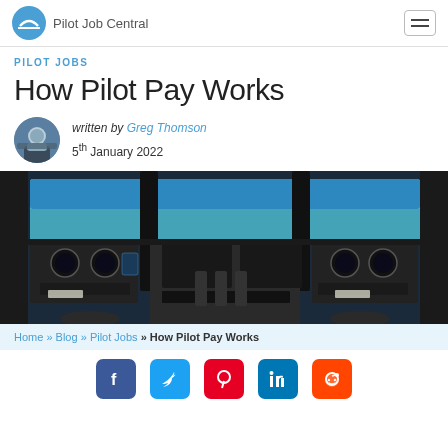Pilot Job Central
PILOT JOBS
How Pilot Pay Works
written by Greg Thomson
5th January 2022
[Figure (photo): Cockpit view of a commercial airliner with instrument panels visible, looking forward through the windshield at a blue ocean and sky horizon]
Home » Blog » Pilot Jobs » How Pilot Pay Works
[Figure (infographic): Social media share icons: Facebook, Twitter, Pinterest, LinkedIn, Reddit]